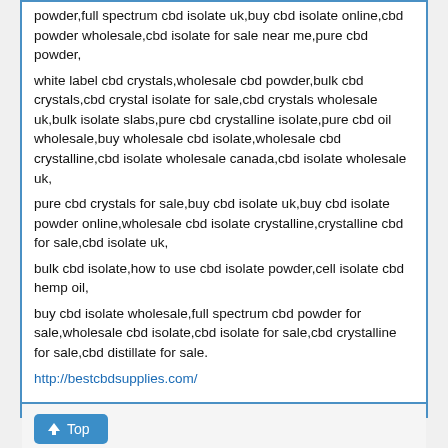powder,full spectrum cbd isolate uk,buy cbd isolate online,cbd powder wholesale,cbd isolate for sale near me,pure cbd powder,
white label cbd crystals,wholesale cbd powder,bulk cbd crystals,cbd crystal isolate for sale,cbd crystals wholesale uk,bulk isolate slabs,pure cbd crystalline isolate,pure cbd oil wholesale,buy wholesale cbd isolate,wholesale cbd crystalline,cbd isolate wholesale canada,cbd isolate wholesale uk,
pure cbd crystals for sale,buy cbd isolate uk,buy cbd isolate powder online,wholesale cbd isolate crystalline,crystalline cbd for sale,cbd isolate uk,
bulk cbd isolate,how to use cbd isolate powder,cell isolate cbd hemp oil,
buy cbd isolate wholesale,full spectrum cbd powder for sale,wholesale cbd isolate,cbd isolate for sale,cbd crystalline for sale,cbd distillate for sale.
http://bestcbdsupplies.com/